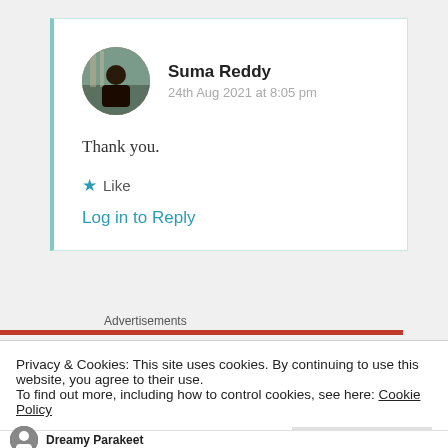Suma Reddy
24th Aug 2021 at 8:05 pm
Thank you.
Like
Log in to Reply
Advertisements
Privacy & Cookies: This site uses cookies. By continuing to use this website, you agree to their use.
To find out more, including how to control cookies, see here: Cookie Policy
Close and accept
Dreamy Parakeet